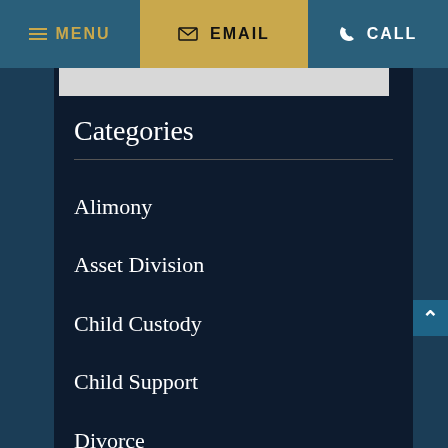MENU | EMAIL | CALL
Categories
Alimony
Asset Division
Child Custody
Child Support
Divorce
Mental Illness
Uncategorized